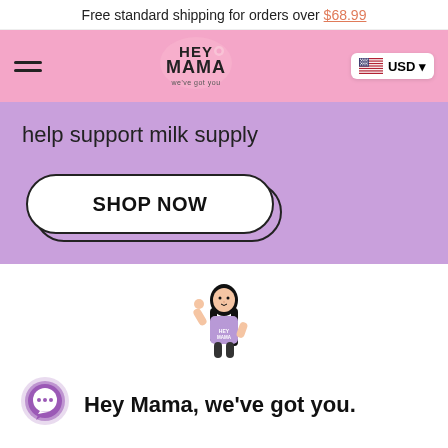Free standard shipping for orders over $68.99
[Figure (logo): Hey Mama logo with tagline 'we've got you' on pink nav bar with hamburger menu and USD currency selector]
help support milk supply
[Figure (illustration): SHOP NOW button with shadow offset styling on purple background]
[Figure (illustration): Cartoon character of a woman with long black hair wearing a purple Hey Mama shirt, flexing her arm]
Hey Mama, we've got you.
Motherhood is bloody tough but we've got you. We take